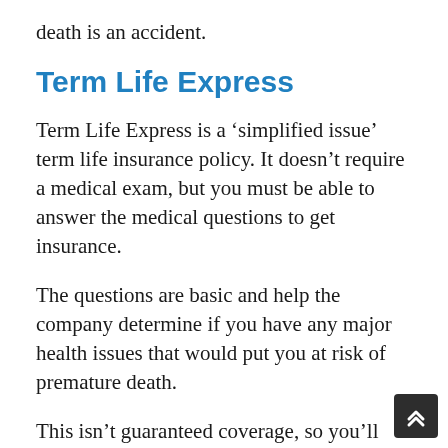death is an accident.
Term Life Express
Term Life Express is a ‘simplified issue’ term life insurance policy. It doesn’t require a medical exam, but you must be able to answer the medical questions to get insurance.
The questions are basic and help the company determine if you have any major health issues that would put you at risk of premature death.
This isn’t guaranteed coverage, so you’ll still go through underwriting, but without the medical exam. Term Life Express has lower coverage amounts starting at $25,000 and up to